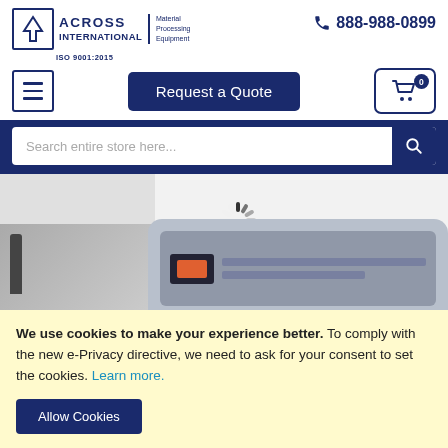[Figure (logo): Across International logo with arrow icon, company name, 'Material Processing Equipment' tagline, and 'ISO 9001:2015' certification]
888-988-0899
[Figure (other): Shopping cart icon with badge showing 0]
[Figure (other): Hamburger menu button (three horizontal lines)]
Request a Quote
Search entire store here...
[Figure (photo): Partial view of laboratory/material processing equipment with a loading spinner overlay]
We use cookies to make your experience better. To comply with the new e-Privacy directive, we need to ask for your consent to set the cookies. Learn more.
Allow Cookies